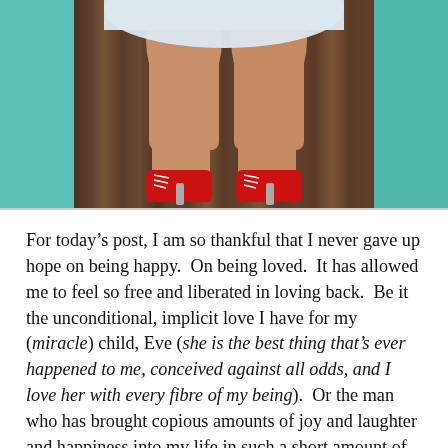[Figure (photo): Photo of woman's legs from mid-thigh down, wearing a light blue/white dress and red lace-up high heel booties, standing in front of a wooden fence/door with teal green trim visible on both sides]
For today's post, I am so thankful that I never gave up hope on being happy.  On being loved.  It has allowed me to feel so free and liberated in loving back.  Be it the unconditional, implicit love I have for my (miracle) child, Eve (she is the best thing that's ever happened to me, conceived against all odds, and I love her with every fibre of my being).  Or the man who has brought copious amounts of joy and laughter and happiness into my life in such a short amount of time.  Michael (who continues to